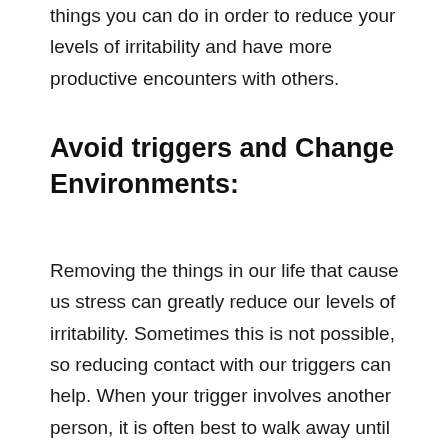things you can do in order to reduce your levels of irritability and have more productive encounters with others.
Avoid triggers and Change Environments:
Removing the things in our life that cause us stress can greatly reduce our levels of irritability. Sometimes this is not possible, so reducing contact with our triggers can help. When your trigger involves another person, it is often best to walk away until you are feeling less irritable. Try